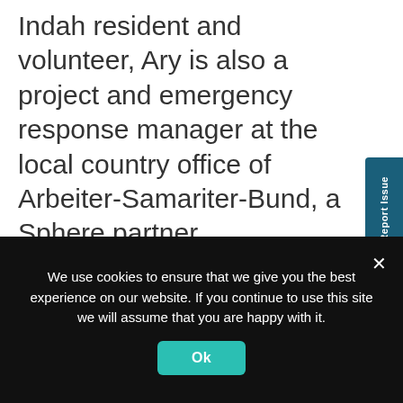Indah resident and volunteer, Ary is also a project and emergency response manager at the local country office of Arbeiter-Samariter-Bund, a Sphere partner organisation. “My kampung [village] includes more or less 130 households and sits on the slopes of the Merapi volcano. We were hit by an earthquake in 2006 and eruptions in 2010; then, in March this year, we were reached by the
We use cookies to ensure that we give you the best experience on our website. If you continue to use this site we will assume that you are happy with it.